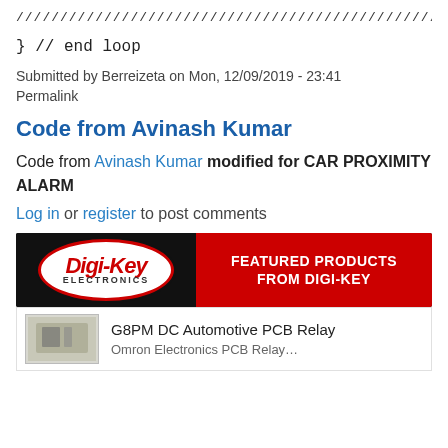////////////////////////////////////////////////////////////////////
}  // end loop
Submitted by Berreizeta on Mon, 12/09/2019 - 23:41
Permalink
Code from Avinash Kumar
Code from Avinash Kumar modified for CAR PROXIMITY ALARM
Log in or register to post comments
[Figure (infographic): Digi-Key Electronics advertisement banner with logo on dark background and red panel reading FEATURED PRODUCTS FROM DIGI-KEY]
G8PM DC Automotive PCB Relay